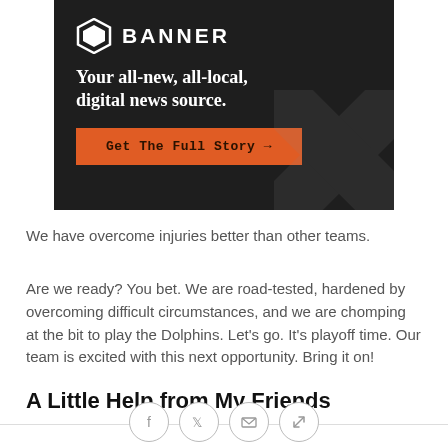[Figure (other): Banner advertisement with dark background, hexagon logo, 'BANNER' title text, tagline 'Your all-new, all-local, digital news source.' and orange call-to-action button 'Get The Full Story →']
We have overcome injuries better than other teams.
Are we ready? You bet. We are road-tested, hardened by overcoming difficult circumstances, and we are chomping at the bit to play the Dolphins. Let's go. It's playoff time. Our team is excited with this next opportunity. Bring it on!
A Little Help from My Friends
[Figure (other): Row of four social sharing icon circles: Facebook (f), Twitter (bird), Email (envelope), Link/chain icon]